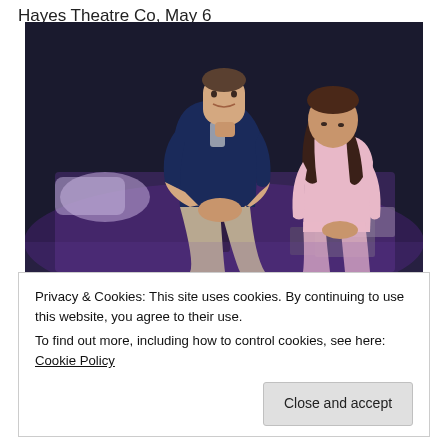Hayes Theatre Co, May 6
[Figure (photo): Two actors on a stage set resembling a bedroom. A young man with short hair in a dark short-sleeve shirt sits on the edge of a bed, leaning forward. A young woman with long dark hair in a pink top sits beside him looking downward. The lighting is dramatic with purple/blue tones and a dark background.]
Privacy & Cookies: This site uses cookies. By continuing to use this website, you agree to their use.
To find out more, including how to control cookies, see here: Cookie Policy
Close and accept